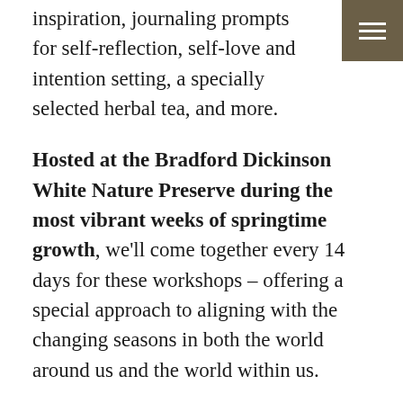inspiration, journaling prompts for self-reflection, self-love and intention setting, a specially selected herbal tea, and more.
Hosted at the Bradford Dickinson White Nature Preserve during the most vibrant weeks of springtime growth, we'll come together every 14 days for these workshops – offering a special approach to aligning with the changing seasons in both the world around us and the world within us.